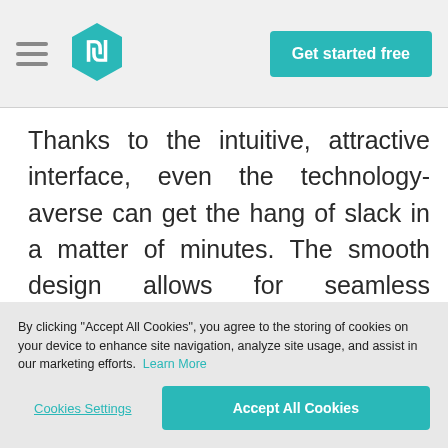[Figure (logo): Teal hexagon logo with stylized 'W' or currency symbol inside, representing a software brand]
Get started free
Thanks to the intuitive, attractive interface, even the technology-averse can get the hang of slack in a matter of minutes. The smooth design allows for seamless integration across desktop and mobile versions, so you can stay in contact with your teammates no matter where you are
By clicking “Accept All Cookies”, you agree to the storing of cookies on your device to enhance site navigation, analyze site usage, and assist in our marketing efforts.
Learn More
Cookies Settings
Accept All Cookies